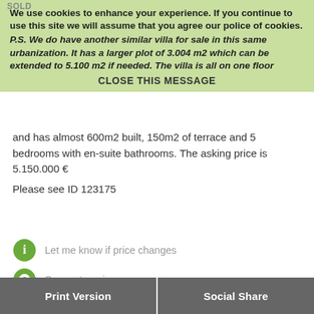We use cookies to enhance your experience. If you continue to use this site we will assume that you agree our police of cookies.
P.S. We do have another similar villa for sale in this same urbanization. It has a larger plot of 3.004 m2 which can be extended to 5.100 m2 if needed. The villa is all on one floor and has almost 600m2 built, 150m2 of terrace and 5 bedrooms with en-suite bathrooms. The asking price is 5.150.000 €
Please see ID 123175
CLOSE THIS MESSAGE
Let me know if price changes
Suggest a price
Send to a friend
Save this property
Print Version
Social Share